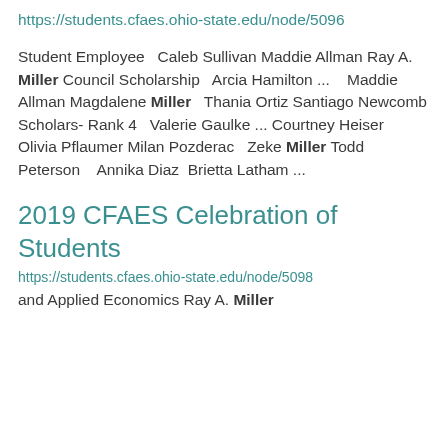https://students.cfaes.ohio-state.edu/node/5096
Student Employee   Caleb Sullivan Maddie Allman Ray A. Miller Council Scholarship   Arcia Hamilton ...    Maddie Allman Magdalene Miller   Thania Ortiz Santiago Newcomb Scholars- Rank 4   Valerie Gaulke ... Courtney Heiser  Olivia Pflaumer Milan Pozderac  Zeke Miller Todd Peterson    Annika Diaz  Brietta Latham ...
2019 CFAES Celebration of Students
https://students.cfaes.ohio-state.edu/node/5098
and Applied Economics Ray A. Miller